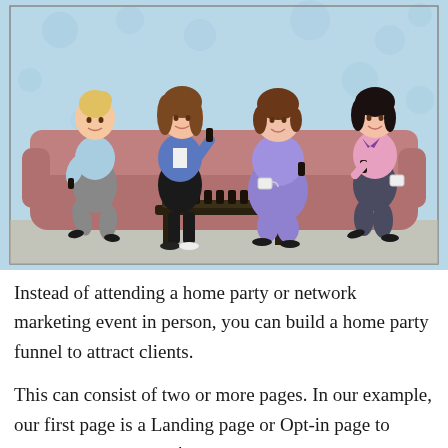[Figure (illustration): Cartoon illustration of four women sitting on a couch at a home party. One woman on the left with blonde hair in a bun wears a light blue top and grey skirt. The second woman with brown hair wears a denim jacket and holds up a small dark bottle. The third woman wears a purple dress and holds a small bottle, with a coffee cup nearby. The fourth woman on the right wears a pink top with a purple bow and holds a small bottle with a coffee cup nearby. A dark wooden coffee table in the center has several small dark bottles on it. The background is light blue with a floral pattern.]
Instead of attending a home party or network marketing event in person, you can build a home party funnel to attract clients.
This can consist of two or more pages. In our example, our first page is a Landing page or Opt-in page to capture your prospect's